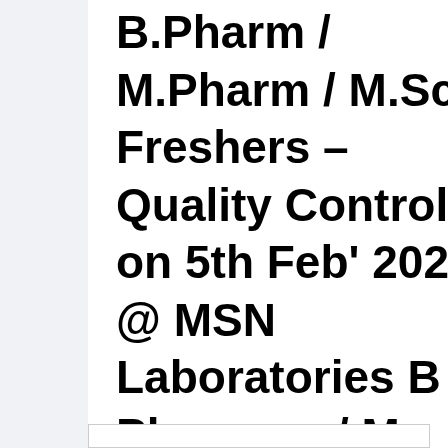B.Pharm / M.Pharm / M.Sc Freshers – Quality Control on 5th Feb' 2022 @ MSN Laboratories B Pharmacy/ M Pharmacy/ MSC